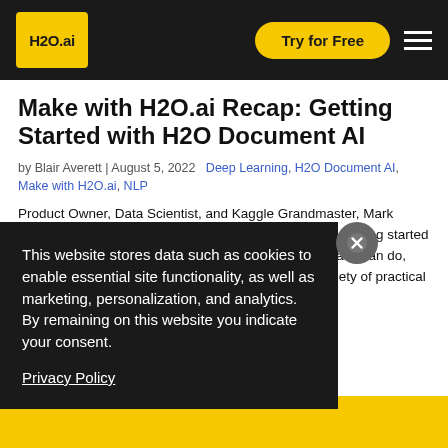H2O.ai | Try for Free | [menu]
Make with H2O.ai Recap: Getting Started with H2O Document AI
by Blair Averett | August 5, 2022  Deep Learning, H2O Document AI, Make with H2O.ai, NLP
Product Owner, Data Scientist, and Kaggle Grandmaster, Mark Landry presented at the Make with H2O.ai session on getting started with H2O Document AI. He shared an overview of what it can do, insights and tips for using it effectively. Included a variety of practical examples now [...]
This website stores data such as cookies to enable essential site functionality, as well as marketing, personalization, and analytics. By remaining on this website you indicate your consent.

Privacy Policy